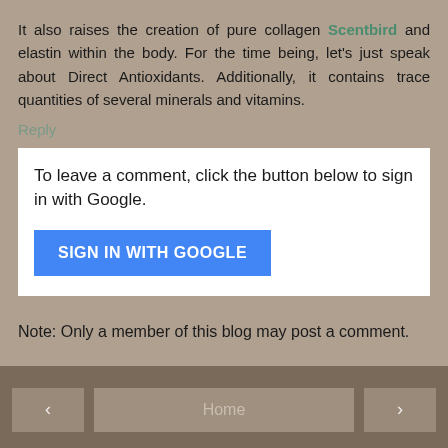It also raises the creation of pure collagen Scentbird and elastin within the body. For the time being, let's just speak about Direct Antioxidants. Additionally, it contains trace quantities of several minerals and vitamins.
Reply
To leave a comment, click the button below to sign in with Google.
SIGN IN WITH GOOGLE
Note: Only a member of this blog may post a comment.
Home
View web version
Powered by Blogger.